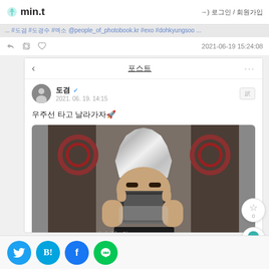min.t
→) 로그인 / 회원가입
... #도겸 #도경수 #엑소 @people_of_photobook.kr #exo #dohkyungsoo ...
2021-06-19 15:24:08
포스트
도겸 ✓
2021. 06. 19. 14:15
우주선 타고 날라가자🚀
[Figure (photo): A person taking a mirror selfie at a hair salon, wearing a foil wrap on their head during hair treatment, holding a dark phone case in front of their face. Background shows salon mirrors and equipment.]
ladgibba의...